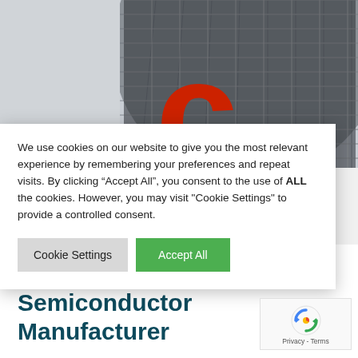[Figure (photo): Photo of a building exterior with a red logo/signage (letters 't' and 'c' visible in red) and a large circular metallic grid/mesh structure on the facade, against a gray sky.]
We use cookies on our website to give you the most relevant experience by remembering your preferences and repeat visits. By clicking “Accept All”, you consent to the use of ALL the cookies. However, you may visit "Cookie Settings" to provide a controlled consent.
Cookie Settings
Accept All
World’s most important Semiconductor Manufacturer
[Figure (logo): reCAPTCHA badge showing circular arrow icon and 'Privacy - Terms' text]